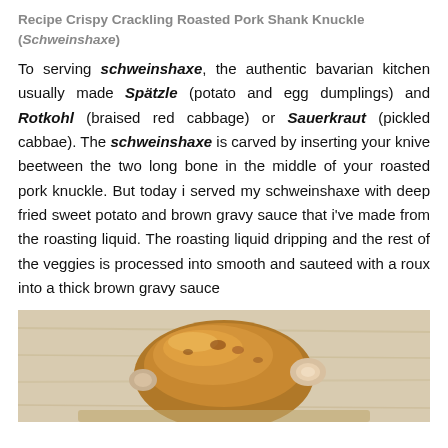Recipe Crispy Crackling Roasted Pork Shank Knuckle (Schweinshaxe)
To serving schweinshaxe, the authentic bavarian kitchen usually made Spätzle (potato and egg dumplings) and Rotkohl (braised red cabbage) or Sauerkraut (pickled cabbae). The schweinshaxe is carved by inserting your knive beetween the two long bone in the middle of your roasted pork knuckle. But today i served my schweinshaxe with deep fried sweet potato and brown gravy sauce that i've made from the roasting liquid. The roasting liquid dripping and the rest of the veggies is processed into smooth and sauteed with a roux into a thick brown gravy sauce
[Figure (photo): Photo of a roasted pork shank (Schweinshaxe) with crispy crackling skin, served on a wooden surface or plate, partially visible at the bottom of the page.]